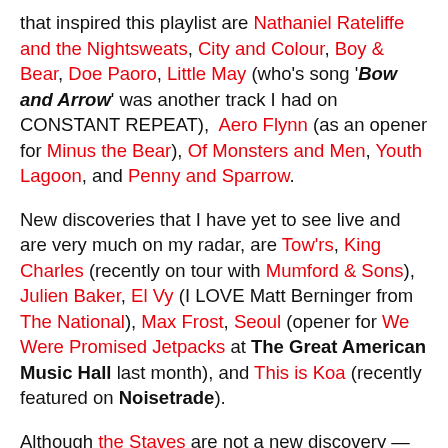that inspired this playlist are Nathaniel Rateliffe and the Nightsweats, City and Colour, Boy & Bear, Doe Paoro, Little May (who's song 'Bow and Arrow' was another track I had on CONSTANT REPEAT),  Aero Flynn (as an opener for Minus the Bear), Of Monsters and Men, Youth Lagoon, and Penny and Sparrow.
New discoveries that I have yet to see live and are very much on my radar, are Tow'rs, King Charles (recently on tour with Mumford & Sons), Julien Baker, El Vy (I LOVE Matt Berninger from The National), Max Frost, Seoul (opener for We Were Promised Jetpacks at The Great American Music Hall last month), and This is Koa (recently featured on Noisetrade).
Although the Staves are not a new discovery — as I have LOVED THEM ever since watching Communion's Austin